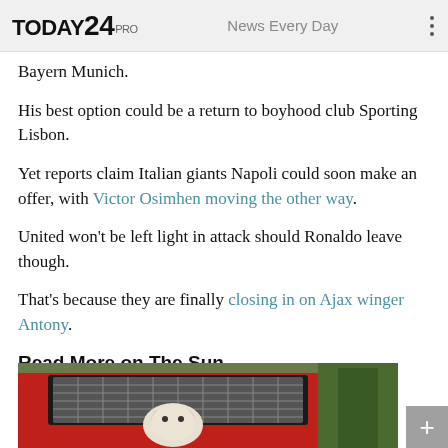TODAY24 PRO   News Every Day
Bayern Munich.
His best option could be a return to boyhood club Sporting Lisbon.
Yet reports claim Italian giants Napoli could soon make an offer, with Victor Osimhen moving the other way.
United won't be left light in attack should Ronaldo leave though.
That's because they are finally closing in on Ajax winger Antony.
Read More on The Sun
[Figure (photo): A dog in the back of a red car with a metal boot guard, trees visible in the background.]